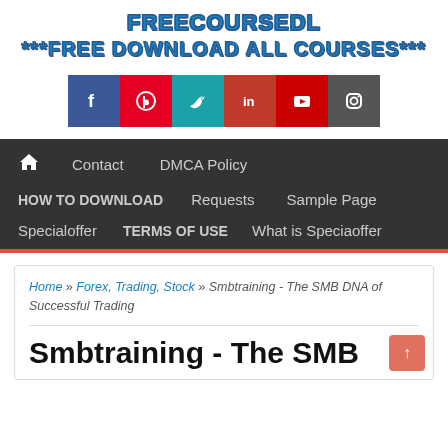FREECOURSEDL ***FREE DOWNLOAD ALL COURSES***
[Figure (infographic): Row of social media icon buttons: Facebook (blue), Pinterest (red), Twitter (teal), LinkedIn (dark red), YouTube (red), Instagram (dark grey)]
Contact  DMCA Policy  HOW TO DOWNLOAD  Requests  Sample Page  Specialoffer  TERMS OF USE  What is Speciaoffer
Home » Forex, Trading, Stock » Smbtraining - The SMB DNA of Successful Trading
Smbtraining - The SMB